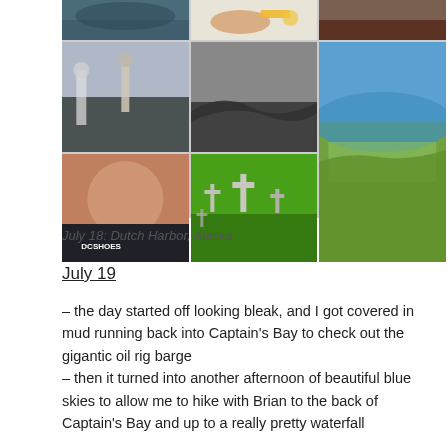[Figure (photo): Collage of travel photos from Dutch Harbor, Alaska: fjord/lake view, food on a plate, rusty metal surface, church with mountains, black and white coastal shore, aerial view of harbor with blue water and green hills, selfie of a man in DC Shoes shirt, cemetery with crosses in green grass]
July 18: Dutch Harbor, Alaska
July 19
– the day started off looking bleak, and I got covered in mud running back into Captain's Bay to check out the gigantic oil rig barge
– then it turned into another afternoon of beautiful blue skies to allow me to hike with Brian to the back of Captain's Bay and up to a really pretty waterfall